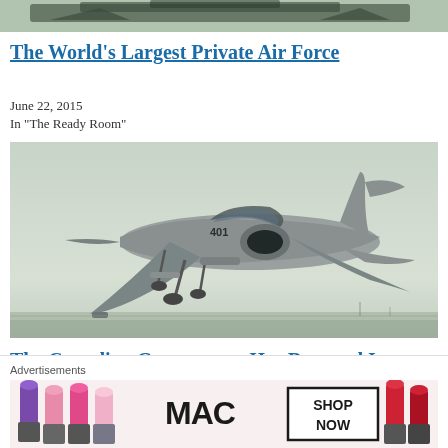[Figure (photo): Top strip of aircraft image, partially cropped]
The World's Largest Private Air Force
June 22, 2015
In "The Ready Room"
[Figure (photo): Military fighter jet (F/A-18 Hornet) taking off or landing, numbered 401, gray sky background]
The Canadian Government Has Dropped Its
Advertisements
[Figure (photo): MAC cosmetics advertisement banner with lipsticks and SHOP NOW button]